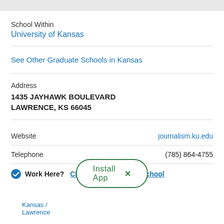School Within
University of Kansas
See Other Graduate Schools in Kansas
Address
1435 JAYHAWK BOULEVARD
LAWRENCE, KS 66045
Website    journalism.ku.edu
Telephone    (785) 864-4755
Work Here? Claim Your Graduate School
[Figure (screenshot): Install App popup with green border and X close button]
Kansas / Lawrence